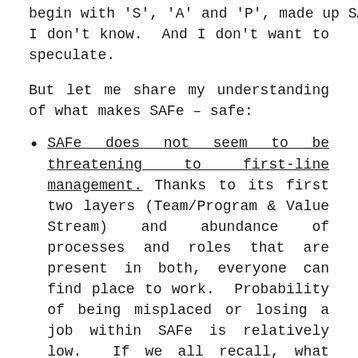begin with 'S', 'A' and 'P', made up SAFe? I don't know. And I don't want to speculate.
But let me share my understanding of what makes SAFe – safe:
SAFe does not seem to be threatening to first-line management. Thanks to its first two layers (Team/Program & Value Stream) and abundance of processes and roles that are present in both, everyone can find place to work. Probability of being misplaced or losing a job within SAFe is relatively low. If we all recall, what happens with implementing basic Scrum, where teams are expected to become self-organized and self-